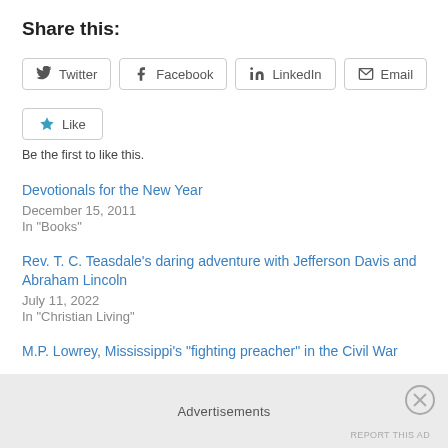Share this:
[Figure (other): Share buttons row: Twitter, Facebook, LinkedIn, Email]
[Figure (other): Like button with star icon]
Be the first to like this.
Devotionals for the New Year
December 15, 2011
In "Books"
Rev. T. C. Teasdale's daring adventure with Jefferson Davis and Abraham Lincoln
July 11, 2022
In "Christian Living"
M.P. Lowrey, Mississippi's "fighting preacher" in the Civil War
Advertisements